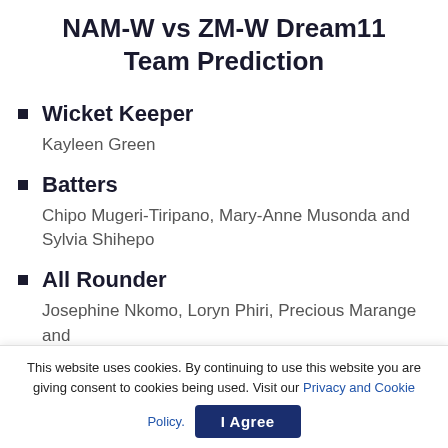NAM-W vs ZM-W Dream11 Team Prediction
Wicket Keeper
Kayleen Green
Batters
Chipo Mugeri-Tiripano, Mary-Anne Musonda and Sylvia Shihepo
All Rounder
Josephine Nkomo, Loryn Phiri, Precious Marange and Sune Wittmann
This website uses cookies. By continuing to use this website you are giving consent to cookies being used. Visit our Privacy and Cookie Policy.